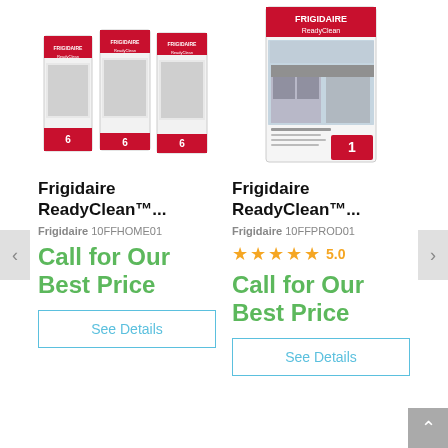[Figure (photo): Three Frigidaire ReadyClean product boxes side by side]
[Figure (photo): Single Frigidaire ReadyClean product box]
Frigidaire ReadyClean™...
Frigidaire 10FFHOME01
Call for Our Best Price
See Details
Frigidaire ReadyClean™...
Frigidaire 10FFPROD01
★★★★★ 5.0
Call for Our Best Price
See Details